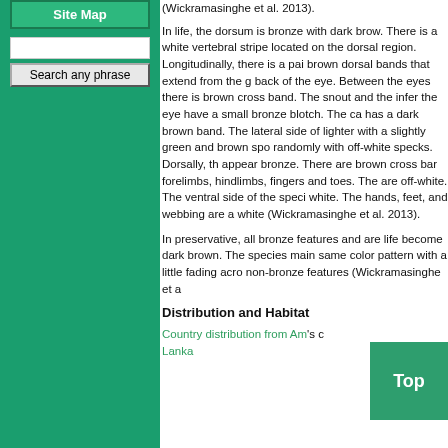Site Map
(Wickramasinghe et al. 2013).
In life, the dorsum is bronze with dark brown. There is a white vertebral stripe located on the dorsal region. Longitudinally, there is a pair of dark brown dorsal bands that extend from the groin to the back of the eye. Between the eyes there is a dark brown cross band. The snout and the inferior part of the eye have a small bronze blotch. The canthus has a dark brown band. The lateral side of the body is lighter with a slightly green and brown spotting, randomly with off-white specks. Dorsally, the limbs appear bronze. There are brown cross bands on the forelimbs, hindlimbs, fingers and toes. The fingertips are off-white. The ventral side of the species is off-white. The hands, feet, and webbing are also off-white (Wickramasinghe et al. 2013).
In preservative, all bronze features and areas in life become dark brown. The species maintains the same color pattern with a little fading across all non-bronze features (Wickramasinghe et al.).
Distribution and Habitat
Country distribution from AmphibiaWeb's database: Sri Lanka